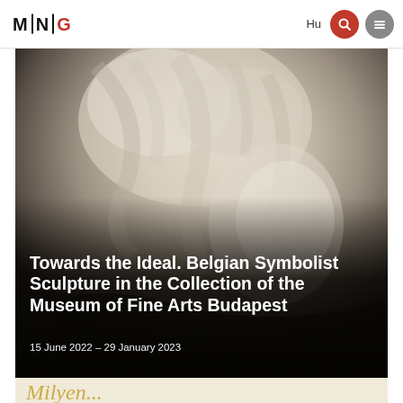MNG | Hu
[Figure (photo): Close-up of a white marble sculpture showing a figure's head with flowing hair and serene facial features, classical Belgian Symbolist style. The image fades to dark at the bottom with overlaid white text.]
Towards the Ideal. Belgian Symbolist Sculpture in the Collection of the Museum of Fine Arts Budapest
15 June 2022 – 29 January 2023
[Figure (photo): Partial view of a cream/tan background with golden cursive/script text visible at the bottom edge of the page.]